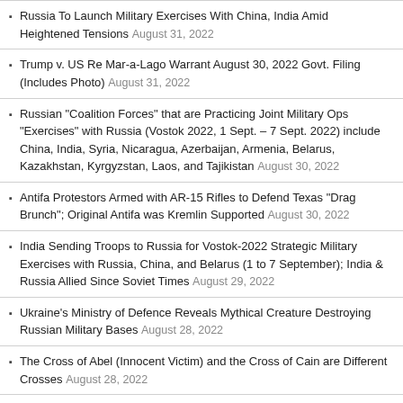Russia To Launch Military Exercises With China, India Amid Heightened Tensions August 31, 2022
Trump v. US Re Mar-a-Lago Warrant August 30, 2022 Govt. Filing (Includes Photo) August 31, 2022
Russian “Coalition Forces” that are Practicing Joint Military Ops “Exercises” with Russia (Vostok 2022, 1 Sept. – 7 Sept. 2022) include China, India, Syria, Nicaragua, Azerbaijan, Armenia, Belarus, Kazakhstan, Kyrgyzstan, Laos, and Tajikistan August 30, 2022
Antifa Protestors Armed with AR-15 Rifles to Defend Texas “Drag Brunch”; Original Antifa was Kremlin Supported August 30, 2022
India Sending Troops to Russia for Vostok-2022 Strategic Military Exercises with Russia, China, and Belarus (1 to 7 September); India & Russia Allied Since Soviet Times August 29, 2022
Ukraine’s Ministry of Defence Reveals Mythical Creature Destroying Russian Military Bases August 28, 2022
The Cross of Abel (Innocent Victim) and the Cross of Cain are Different Crosses August 28, 2022
UK Prime Minister Johnson: Time for West to Double Down our Support for Ukraine, Not Go Wobbly August 28, 2022
Russia Blocks UN Nuclear Non-Proliferation Treaty Agreement Because